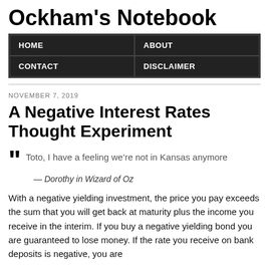Ockham's Notebook
| HOME | ABOUT |
| --- | --- |
| CONTACT | DISCLAIMER |
NOVEMBER 7, 2019
A Negative Interest Rates Thought Experiment
Toto, I have a feeling we’re not in Kansas anymore
— Dorothy in Wizard of Oz
With a negative yielding investment, the price you pay exceeds the sum that you will get back at maturity plus the income you receive in the interim. If you buy a negative yielding bond you are guaranteed to lose money. If the rate you receive on bank deposits is negative, you are